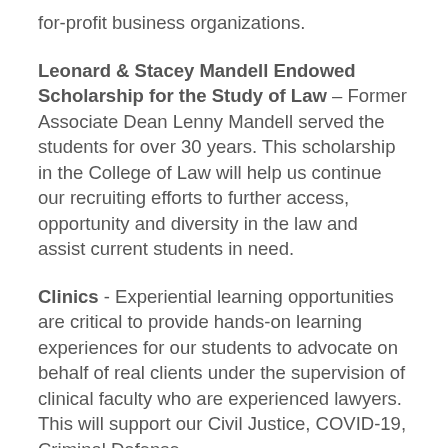for-profit business organizations.
Leonard & Stacey Mandell Endowed Scholarship for the Study of Law – Former Associate Dean Lenny Mandell served the students for over 30 years. This scholarship in the College of Law will help us continue our recruiting efforts to further access, opportunity and diversity in the law and assist current students in need.
Clinics - Experiential learning opportunities are critical to provide hands-on learning experiences for our students to advocate on behalf of real clients under the supervision of clinical faculty who are experienced lawyers. This will support our Civil Justice, COVID-19, Criminal Defense